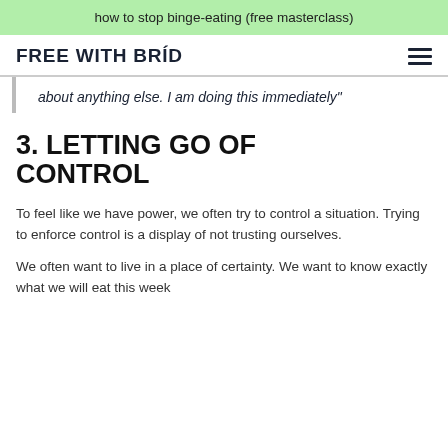how to stop binge-eating (free masterclass)
FREE WITH BRÍD
about anything else. I am doing this immediately"
3. LETTING GO OF CONTROL
To feel like we have power, we often try to control a situation. Trying to enforce control is a display of not trusting ourselves.
We often want to live in a place of certainty. We want to know exactly what we will eat this week